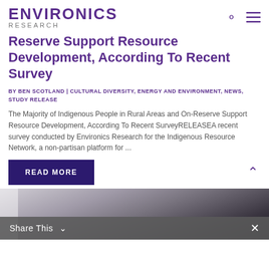ENVIRONICS RESEARCH
Reserve Support Resource Development, According To Recent Survey
BY BEN SCOTLAND | CULTURAL DIVERSITY, ENERGY AND ENVIRONMENT, NEWS, STUDY RELEASE
The Majority of Indigenous People in Rural Areas and On-Reserve Support Resource Development, According To Recent SurveyRELEASEA recent survey conducted by Environics Research for the Indigenous Resource Network, a non-partisan platform for ...
READ MORE
[Figure (photo): Photo of a person with grey/white hair, partially visible, dark background, with a Share This bar overlay at the bottom]